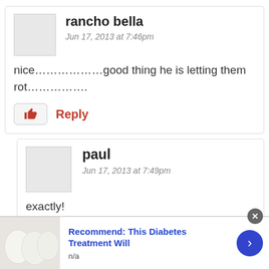[Figure (other): User avatar placeholder (gray square) for rancho bella]
rancho bella
Jun 17, 2013 at 7:46pm
nice………………good thing he is letting them rot…………….
Reply
[Figure (other): User avatar placeholder (gray square) for paul]
paul
Jun 17, 2013 at 7:49pm
exactly!
Recommend: This Diabetes Treatment Will
n/a